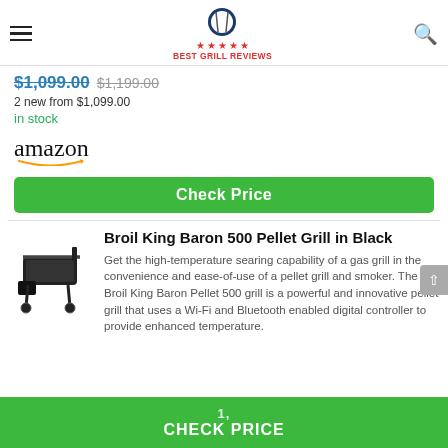Best Grill Reviews
$1,099.00  $1,199.00
2 new from $1,099.00
in stock
[Figure (logo): Amazon logo with orange arrow smile]
Check Price
Broil King Baron 500 Pellet Grill in Black
Get the high-temperature searing capability of a gas grill in the convenience and ease-of-use of a pellet grill and smoker. The Broil King Baron Pellet 500 grill is a powerful and innovative pellet grill that uses a Wi-Fi and Bluetooth enabled digital controller to provide enhanced temperature.
CHECK PRICE